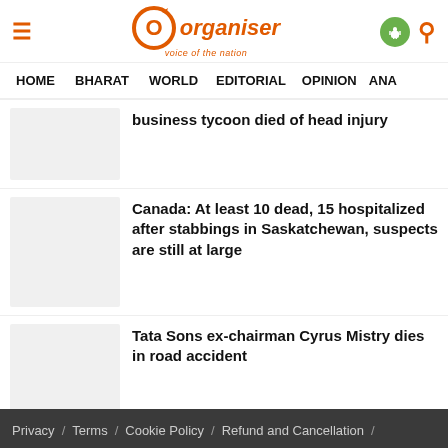Organiser — voice of the nation
HOME   BHARAT   WORLD   EDITORIAL   OPINION   ANA
business tycoon died of head injury
Canada: At least 10 dead, 15 hospitalized after stabbings in Saskatchewan, suspects are still at large
Tata Sons ex-chairman Cyrus Mistry dies in road accident
Privacy / Terms / Cookie Policy / Refund and Cancellation /